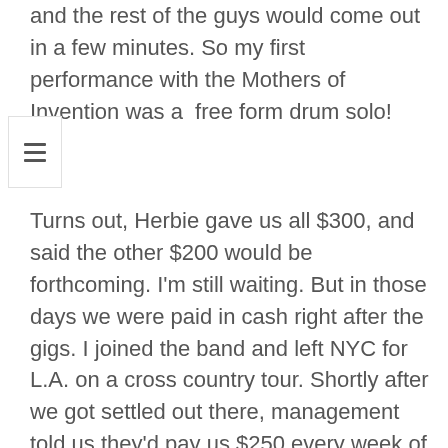...Frank told me to just go out and start playing, and the rest of the guys would come out in a few minutes. So my first performance with the Mothers of Invention was a free form drum solo!
Turns out, Herbie gave us all $300, and said the other $200 would be forthcoming. I'm still waiting. But in those days we were paid in cash right after the gigs. I joined the band and left NYC for L.A. on a cross country tour. Shortly after we got settled out there, management told us they'd pay us $250 every week of the year whether we worked or not, and the excess funds would be divided up quarterly. Again, I'm still waiting for the excess. But to me it was still good money, and I was having a ball playing everything I'd ever wanted to.